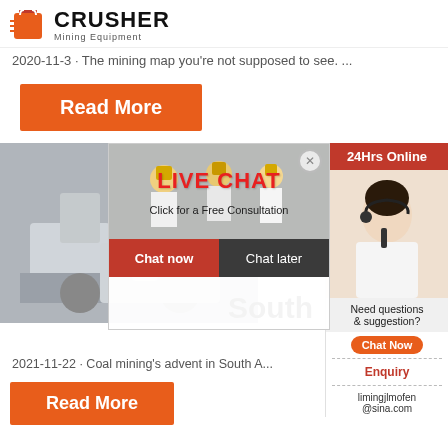[Figure (logo): Crusher Mining Equipment logo with red shopping bag icon and bold CRUSHER text]
2020-11-3 · The mining map you're not supposed to see. ...
Read More
[Figure (photo): Industrial machinery in a factory setting]
[Figure (infographic): Live Chat popup overlay with workers in hard hats, LIVE CHAT title, Click for a Free Consultation subtitle, Chat now and Chat later buttons]
[Figure (photo): Customer service agent with headset on right sidebar]
24Hrs Online
Need questions & suggestion?
Chat Now
Enquiry
limingjlmofen@sina.com
2021-11-22 · Coal mining's advent in South A...
Read More